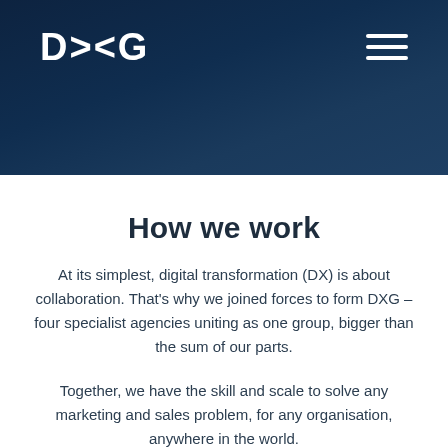[Figure (logo): DXG logo in white text on dark navy blue header banner with hamburger menu icon on the right]
How we work
At its simplest, digital transformation (DX) is about collaboration. That's why we joined forces to form DXG – four specialist agencies uniting as one group, bigger than the sum of our parts.
Together, we have the skill and scale to solve any marketing and sales problem, for any organisation, anywhere in the world.